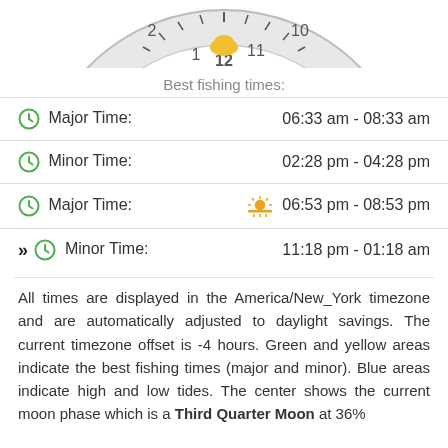[Figure (illustration): Partial clock/dial chart showing fishing times, partially visible at top of page]
Best fishing times:
| Label | Time Range |
| --- | --- |
| Major Time: | 06:33 am - 08:33 am |
| Minor Time: | 02:28 pm - 04:28 pm |
| Major Time: | 06:53 pm - 08:53 pm |
| Minor Time: | 11:18 pm - 01:18 am |
All times are displayed in the America/New_York timezone and are automatically adjusted to daylight savings. The current timezone offset is -4 hours. Green and yellow areas indicate the best fishing times (major and minor). Blue areas indicate high and low tides. The center shows the current moon phase which is a Third Quarter Moon at 36%